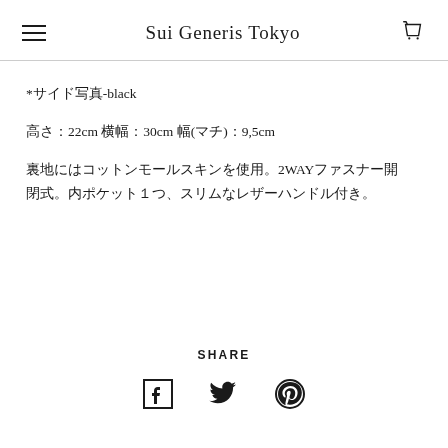Sui Generis Tokyo
*サイド写真-black
高さ：22cm 横幅：30cm 幅(マチ)：9,5cm
裏地にはコットンモールスキンを使用。2WAYファスナー開閉式。内ポケット１つ、スリムなレザーハンドル付き。
SHARE
[Figure (illustration): Social share icons: Facebook, Twitter, Pinterest]